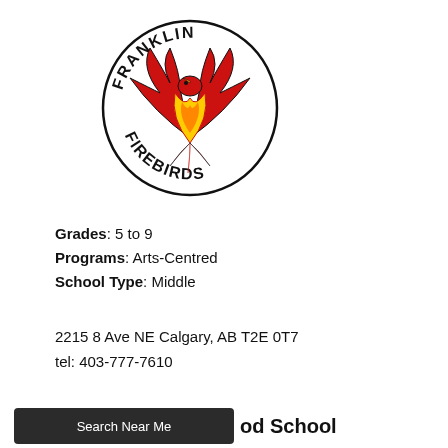[Figure (logo): Franklin Firebirds school logo: a phoenix bird with red and yellow flames, surrounded by text 'FRANKLIN' at top and 'FIREBIRDS' at bottom in an arc, with a circular border]
Grades: 5 to 9
Programs: Arts-Centred
School Type: Middle
2215 8 Ave NE Calgary, AB T2E 0T7
tel: 403-777-7610
Search Near Me
od School